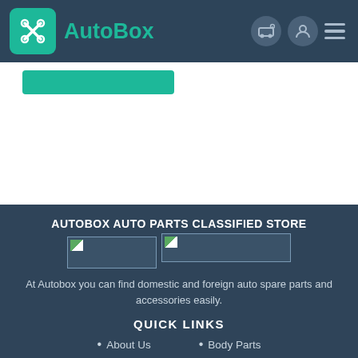AutoBox
[Figure (screenshot): Teal button below header navigation]
AUTOBOX AUTO PARTS CLASSIFIED STORE
[Figure (photo): Two broken image placeholders side by side in dark footer area]
At Autobox you can find domestic and foreign auto spare parts and accessories easily.
QUICK LINKS
About Us
Body Parts